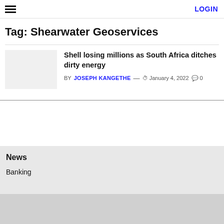LOGIN
Tag: Shearwater Geoservices
[Figure (photo): Thumbnail image placeholder (light gray rectangle)]
Shell losing millions as South Africa ditches dirty energy
BY JOSEPH KANGETHE — January 4, 2022  0
News
Banking